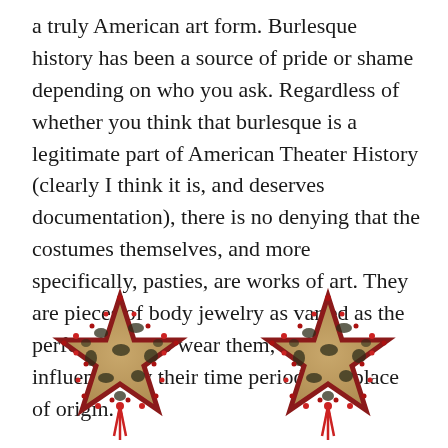a truly American art form. Burlesque history has been a source of pride or shame depending on who you ask. Regardless of whether you think that burlesque is a legitimate part of American Theater History (clearly I think it is, and deserves documentation), there is no denying that the costumes themselves, and more specifically, pasties, are works of art. They are pieces of body jewelry as varied as the performers who wear them, and are influenced by their time period, and place of origin.
[Figure (photo): Two star-shaped pasties with leopard print fabric and red rhinestone/crystal borders, with red tassel decorations hanging from the center of each.]